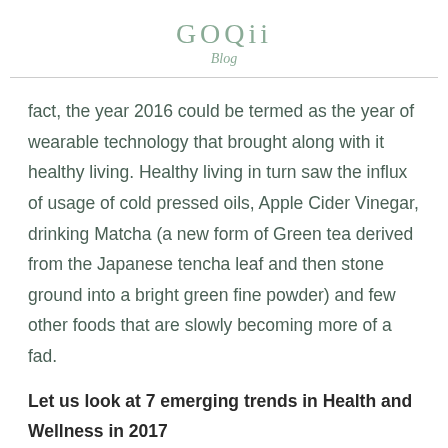GOQii
Blog
fact, the year 2016 could be termed as the year of wearable technology that brought along with it healthy living. Healthy living in turn saw the influx of usage of cold pressed oils, Apple Cider Vinegar, drinking Matcha (a new form of Green tea derived from the Japanese tencha leaf and then stone ground into a bright green fine powder) and few other foods that are slowly becoming more of a fad.
Let us look at 7 emerging trends in Health and Wellness in 2017